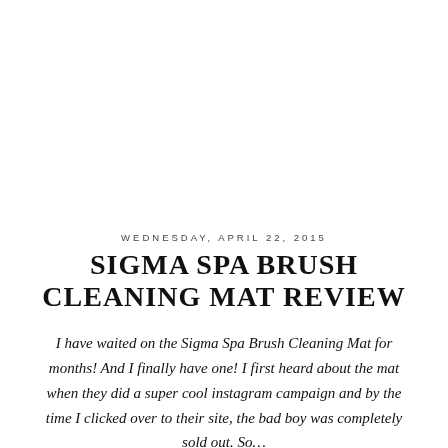WEDNESDAY, APRIL 22, 2015
SIGMA SPA BRUSH CLEANING MAT REVIEW
I have waited on the Sigma Spa Brush Cleaning Mat for months! And I finally have one! I first heard about the mat when they did a super cool instagram campaign and by the time I clicked over to their site, the bad boy was completely sold out. So…